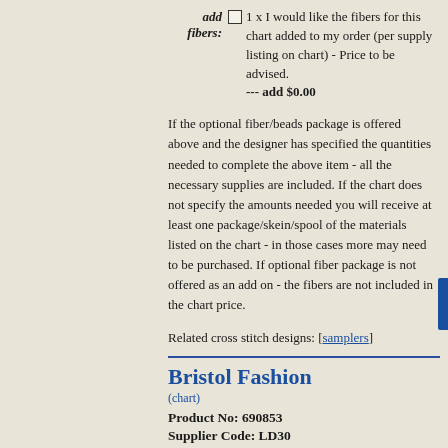add fibers: 1 x I would like the fibers for this chart added to my order (per supply listing on chart) - Price to be advised. --- add $0.00
If the optional fiber/beads package is offered above and the designer has specified the quantities needed to complete the above item - all the necessary supplies are included. If the chart does not specify the amounts needed you will receive at least one package/skein/spool of the materials listed on the chart - in those cases more may need to be purchased. If optional fiber package is not offered as an add on - the fibers are not included in the chart price.
Related cross stitch designs: [samplers]
Bristol Fashion
(chart)
Product No: 690853
Supplier Code: LD30
Designer/Artist: Long Dog Samplers